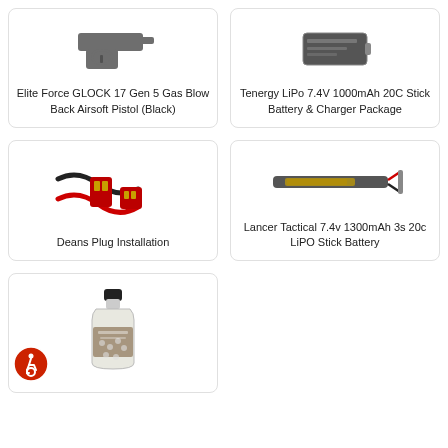[Figure (photo): Elite Force GLOCK 17 Gen 5 Gas Blow Back Airsoft Pistol (Black) - product image]
Elite Force GLOCK 17 Gen 5 Gas Blow Back Airsoft Pistol (Black)
[Figure (photo): Tenergy LiPo 7.4V 1000mAh 20C Stick Battery & Charger Package - product image]
Tenergy LiPo 7.4V 1000mAh 20C Stick Battery & Charger Package
[Figure (photo): Deans Plug Installation - product image of red and black connector cables]
Deans Plug Installation
[Figure (photo): Lancer Tactical 7.4v 1300mAh 3s 20c LiPO Stick Battery - product image]
Lancer Tactical 7.4v 1300mAh 3s 20c LiPO Stick Battery
[Figure (photo): BB bottle product image - bottle of airsoft BBs]
[Figure (logo): Accessibility icon - wheelchair user symbol in red circle]